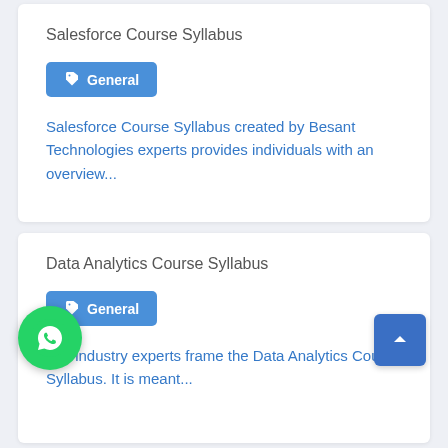Salesforce Course Syllabus
General
Salesforce Course Syllabus created by Besant Technologies experts provides individuals with an overview...
Data Analytics Course Syllabus
General
Our industry experts frame the Data Analytics Course Syllabus. It is meant...